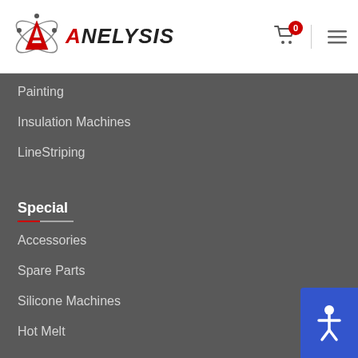[Figure (logo): Anelysis logo with atomic orbit symbol and red triangle A, text ANELYSIS in bold italic]
Painting
Insulation Machines
LineStriping
Special
Accessories
Spare Parts
Silicone Machines
Hot Melt